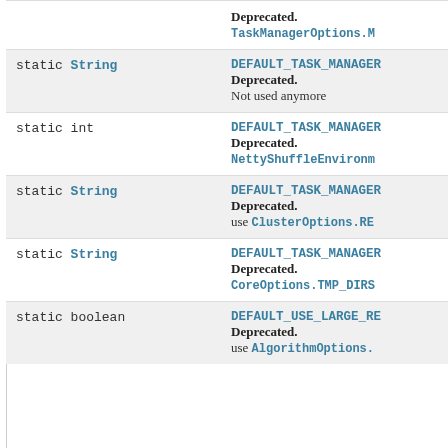| Type | Field/Description |
| --- | --- |
|  | Deprecated.
TaskManagerOptions.M... |
| static String | DEFAULT_TASK_MANAGER...
Deprecated.
Not used anymore |
| static int | DEFAULT_TASK_MANAGER...
Deprecated.
NettyShuffleEnvironm... |
| static String | DEFAULT_TASK_MANAGER...
Deprecated.
use ClusterOptions.RE... |
| static String | DEFAULT_TASK_MANAGER...
Deprecated.
CoreOptions.TMP_DIRS... |
| static boolean | DEFAULT_USE_LARGE_RE...
Deprecated.
use AlgorithmOptions.... |